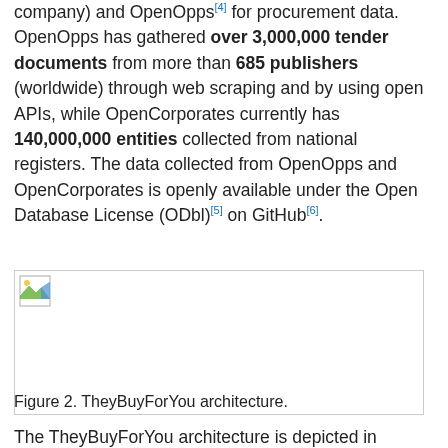company) and OpenOpps[4] for procurement data. OpenOpps has gathered over 3,000,000 tender documents from more than 685 publishers (worldwide) through web scraping and by using open APIs, while OpenCorporates currently has 140,000,000 entities collected from national registers. The data collected from OpenOpps and OpenCorporates is openly available under the Open Database License (ODbl)[5] on GitHub[6].
[Figure (illustration): TheyBuyForYou architecture diagram (image placeholder shown with broken image icon)]
Figure 2. TheyBuyForYou architecture.
The TheyBuyForYou architecture is depicted in